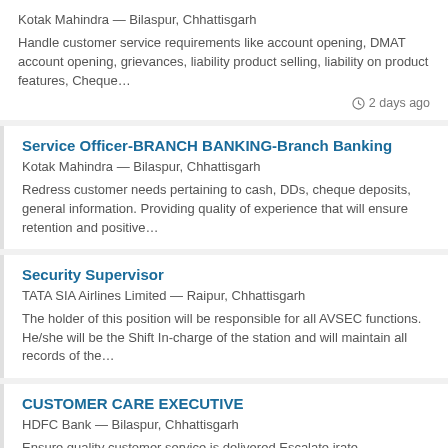Kotak Mahindra — Bilaspur, Chhattisgarh
Handle customer service requirements like account opening, DMAT account opening, grievances, liability product selling, liability on product features, Cheque…
2 days ago
Service Officer-BRANCH BANKING-Branch Banking
Kotak Mahindra — Bilaspur, Chhattisgarh
Redress customer needs pertaining to cash, DDs, cheque deposits, general information. Providing quality of experience that will ensure retention and positive…
Security Supervisor
TATA SIA Airlines Limited — Raipur, Chhattisgarh
The holder of this position will be responsible for all AVSEC functions. He/she will be the Shift In-charge of the station and will maintain all records of the…
CUSTOMER CARE EXECUTIVE
HDFC Bank — Bilaspur, Chhattisgarh
Ensure quality customer service is delivered Escalate irate